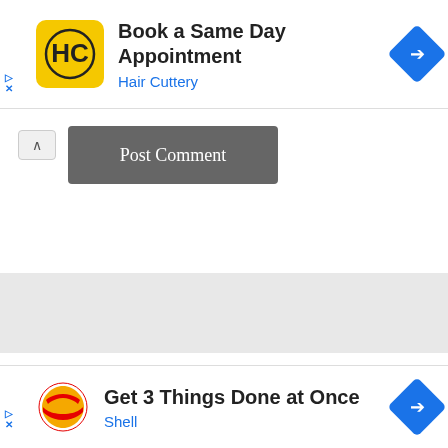[Figure (screenshot): Hair Cuttery advertisement banner: yellow rounded square logo with HC text, headline 'Book a Same Day Appointment', subline 'Hair Cuttery' in blue, blue diamond arrow icon on right]
Post Comment
[Figure (screenshot): Gray section placeholder area]
Search ...
[Figure (screenshot): Shell advertisement banner: Shell logo, headline 'Get 3 Things Done at Once', subline 'Shell' in blue, blue diamond arrow icon on right]